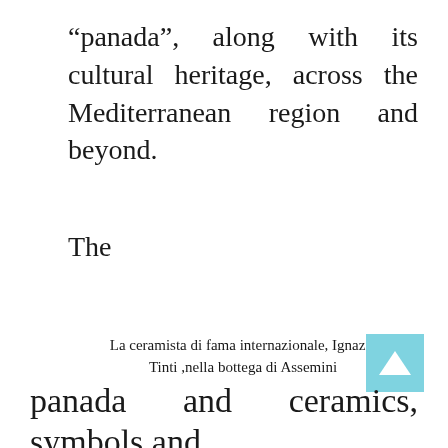“panada”, along with its cultural heritage, across the Mediterranean region and beyond.
The
La ceramista di fama internazionale, Ignazia Tinti ,nella bottega di Assemini
panada and ceramics, symbols and